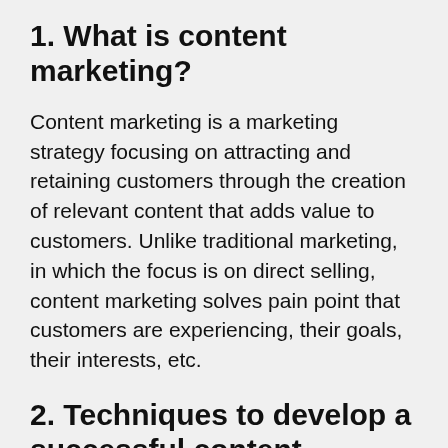1. What is content marketing?
Content marketing is a marketing strategy focusing on attracting and retaining customers through the creation of relevant content that adds value to customers. Unlike traditional marketing, in which the focus is on direct selling, content marketing solves pain point that customers are experiencing, their goals, their interests, etc.
2. Techniques to develop a successful content strategy